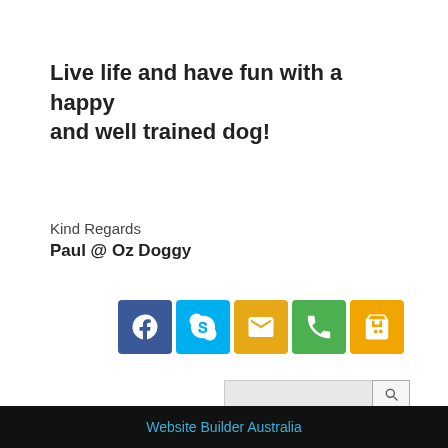Live life and have fun with a happy and well trained dog!
Kind Regards
Paul @ Oz Doggy
[Figure (infographic): Row of five social/contact icon buttons: Facebook (blue), Skype (light blue), Email (yellow/gold), Phone (green), Shopping cart (amber/orange)]
[Figure (other): Search bar with text input field and magnifying glass search button]
Website Builder Australia